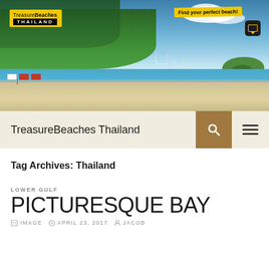[Figure (photo): Hero banner photo of a tropical beach in Thailand with palm trees, white sand, turquoise water, sailboats, and a green island in the background. TreasureBeaches Thailand logo in top-left with yellow background. 'Find your perfect beach!' badge in top-right.]
TreasureBeaches Thailand
Tag Archives: Thailand
LOWER GULF
PICTURESQUE BAY
IMAGE   APRIL 23, 2017   JACOB